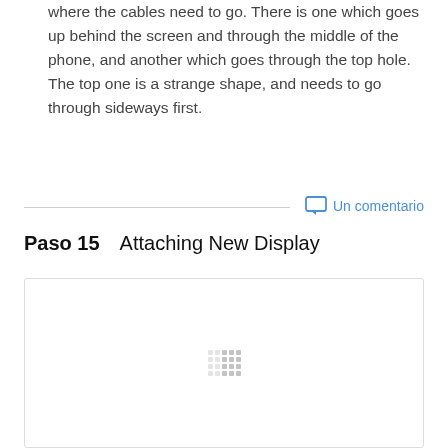where the cables need to go. There is one which goes up behind the screen and through the middle of the phone, and another which goes through the top hole. The top one is a strange shape, and needs to go through sideways first.
Un comentario
Paso 15    Attaching New Display
[Figure (photo): Image area showing a loading/placeholder state with a small grid of gray dots in the center, inside a bordered rectangle]